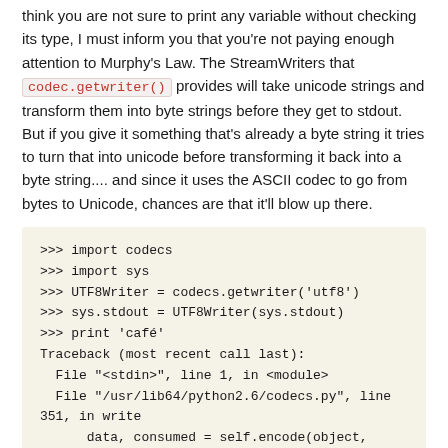think you are not sure to print any variable without checking its type, I must inform you that you're not paying enough attention to Murphy's Law. The StreamWriters that codec.getwriter() provides will take unicode strings and transform them into byte strings before they get to stdout. But if you give it something that's already a byte string it tries to turn that into unicode before transforming it back into a byte string.... and since it uses the ASCII codec to go from bytes to Unicode, chances are that it'll blow up there.
[Figure (screenshot): Python interactive shell code block showing import of codecs and sys modules, setting UTF8Writer for sys.stdout, printing 'café', and the resulting UnicodeDecodeError traceback]